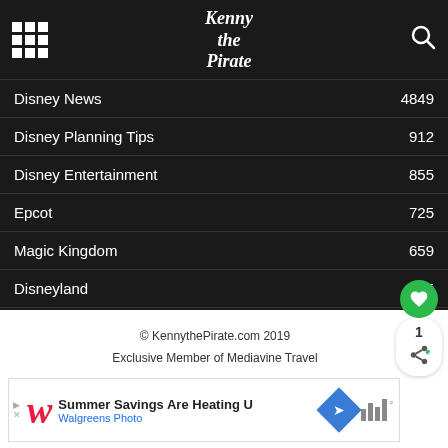Kenny the Pirate
Disney News 4849
Disney Planning Tips 912
Disney Entertainment 855
Epcot 725
Magic Kingdom 659
Disneyland 585
© KennythePirate.com 2019
Exclusive Member of Mediavine Travel
[Figure (screenshot): Walgreens Photo advertisement: Summer Savings Are Heating U, Walgreens Photo]